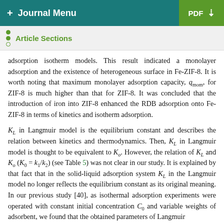+ Journal Menu | PDF
Article Sections
adsorption isotherm models. This result indicated a monolayer adsorption and the existence of heterogeneous surface in Fe-ZIF-8. It is worth noting that maximum monolayer adsorption capacity, q_mom, for ZIF-8 is much higher than that for ZIF-8. It was concluded that the introduction of iron into ZIF-8 enhanced the RDB adsorption onto Fe-ZIF-8 in terms of kinetics and isotherm adsorption.
K_L in Langmuir model is the equilibrium constant and describes the relation between kinetics and thermodynamics. Then, K_L in Langmuir model is thought to be equivalent to K_o. However, the relation of K_L and K_o (K_0 = k_1/k_2) (see Table 5) was not clear in our study. It is explained by that fact that in the solid-liquid adsorption system K_L in the Langmuir model no longer reflects the equilibrium constant as its original meaning. In our previous study [40], as isothermal adsorption experiments were operated with constant initial concentration C_0 and variable weights of adsorbent, we found that the obtained parameters of Langmuir